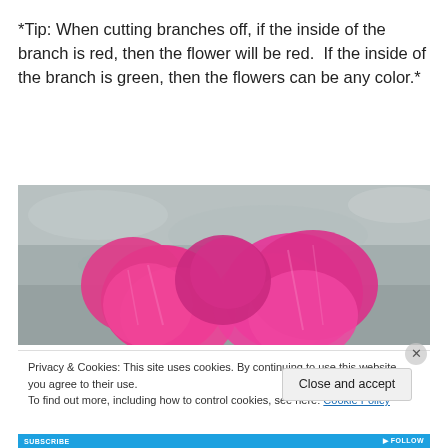*Tip: When cutting branches off, if the inside of the branch is red, then the flower will be red.  If the inside of the branch is green, then the flowers can be any color.*
[Figure (photo): Close-up photo of pink flower petals (Camellia or similar) against a stone/concrete background]
Privacy & Cookies: This site uses cookies. By continuing to use this website, you agree to their use.
To find out more, including how to control cookies, see here: Cookie Policy
Close and accept